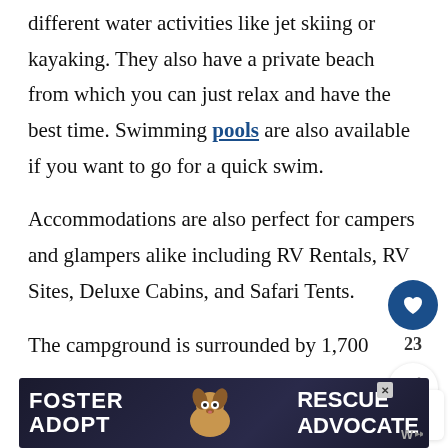different water activities like jet skiing or kayaking. They also have a private beach from which you can just relax and have the best time. Swimming pools are also available if you want to go for a quick swim.
Accommodations are also perfect for campers and glampers alike including RV Rentals, RV Sites, Deluxe Cabins, and Safari Tents.
The campground is surrounded by 1,700
[Figure (screenshot): Social media UI overlay: heart/like button showing 23 likes, and a share button with plus icon]
[Figure (infographic): What's Next panel showing a thumbnail image of RVs and text '6 RV Campgroun...']
[Figure (screenshot): Advertisement banner: FOSTER ADOPT / dog photo / RESCUE ADVOCATE with close button and W logo]